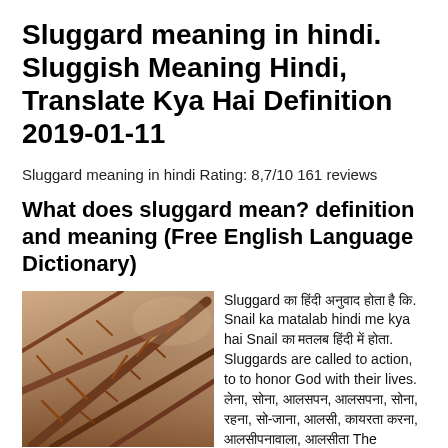Sluggard meaning in hindi. Sluggish Meaning Hindi, Translate Kya Hai Definition 2019-01-11
Sluggard meaning in hindi Rating: 8,7/10 161 reviews
What does sluggard mean? definition and meaning (Free English Language Dictionary)
[Figure (photo): Close-up photo of thorny branches with sharp spines, brownish-red coloring against a blurred background.]
Sluggard का हिंदी अनुवाद होता है कि. Snail ka matalab hindi me kya hai Snail का मतलब हिंदी में होता. Sluggards are called to action, to to honor God with their lives. लेना, सोना, आलसपन, आलसपना, सोना, रहना, सो-जाना, आलसी, कायरता करना, आलसीपनावाला, आलसीता The